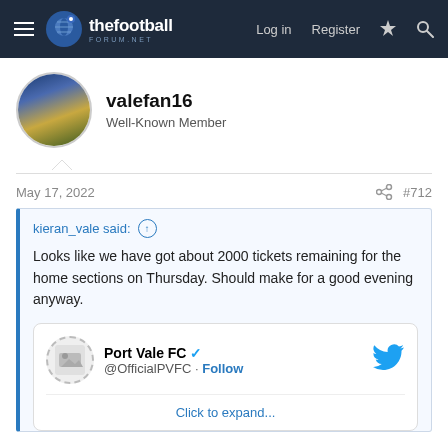thefootballforum.net — Log in | Register
valefan16
Well-Known Member
May 17, 2022  #712
kieran_vale said: ↑

Looks like we have got about 2000 tickets remaining for the home sections on Thursday. Should make for a good evening anyway.

Port Vale FC @OfficialPVFC · Follow
Click to expand...
Assuming that doesn't include away which it may then we should be on course for a sell out as thats 2k in a day.